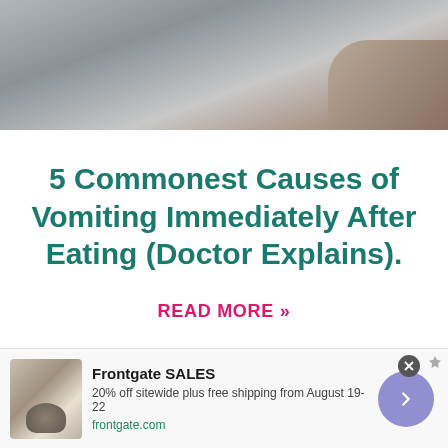[Figure (photo): Top portion of a photo showing a person lying in bed, gray bedding, hand visible near face]
5 Commonest Causes of Vomiting Immediately After Eating (Doctor Explains).
READ MORE »
[Figure (photo): Advertisement banner: Frontgate SALES - 20% off sitewide plus free shipping from August 19-22. frontgate.com. Shows outdoor furniture with fire pit.]